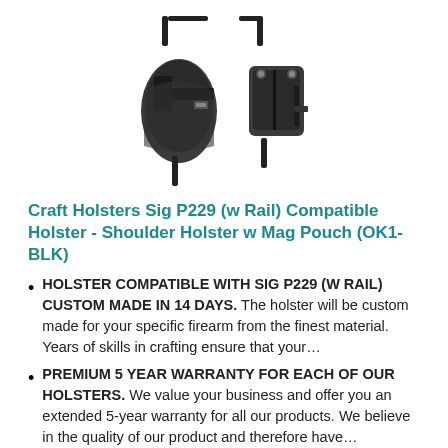[Figure (photo): Product photo showing a shoulder holster system with gun holster on the left side and magazine pouch on the right side, connected by shoulder straps, shown front and back views in black leather/material.]
Craft Holsters Sig P229 (w Rail) Compatible Holster - Shoulder Holster w Mag Pouch (OK1-BLK)
HOLSTER COMPATIBLE WITH SIG P229 (W RAIL) CUSTOM MADE IN 14 DAYS. The holster will be custom made for your specific firearm from the finest material. Years of skills in crafting ensure that your…
PREMIUM 5 YEAR WARRANTY FOR EACH OF OUR HOLSTERS. We value your business and offer you an extended 5-year warranty for all our products. We believe in the quality of our product and therefore have…